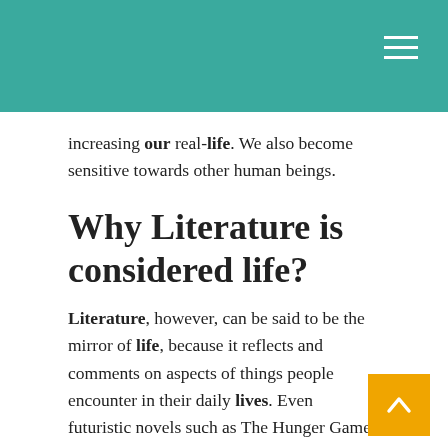increasing our real-life. We also become sensitive towards other human beings.
Why Literature is considered life?
Literature, however, can be said to be the mirror of life, because it reflects and comments on aspects of things people encounter in their daily lives. Even futuristic novels such as The Hunger Games can reflect life, despite the fact that its world is alien to the modern human being.
What are the qualities of literature?
In this article, we are going to look at 5 essential qualities of literature.